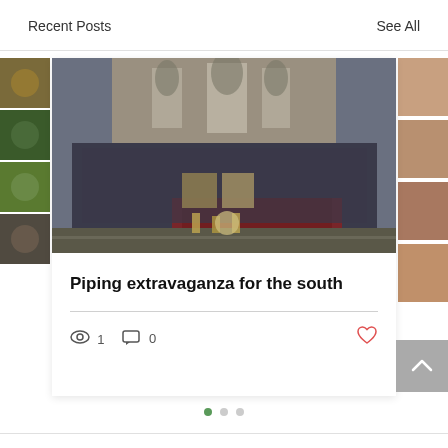Recent Posts
See All
[Figure (photo): Group photo of bagpipe band in kilts and dark uniforms, standing in front of a cathedral/gothic building, holding trophies and shields]
Piping extravaganza for the south
1 views  0 comments  like